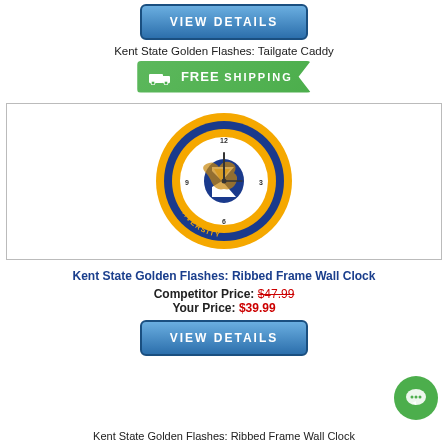[Figure (other): VIEW DETAILS button (blue gradient rounded rectangle)]
Kent State Golden Flashes: Tailgate Caddy
[Figure (other): FREE SHIPPING badge in green with truck icon]
[Figure (other): Kent State University Ribbed Frame Wall Clock product image — circular clock with gold outer ring, blue inner ring, KENT STATE UNIVERSITY text, and golden flash K logo in center]
Kent State Golden Flashes: Ribbed Frame Wall Clock
Competitor Price: $47.99
Your Price: $39.99
[Figure (other): VIEW DETAILS button (blue gradient rounded rectangle)]
[Figure (other): Green circular chat bubble icon]
Kent State Golden Flashes: Ribbed Frame Wall Clock